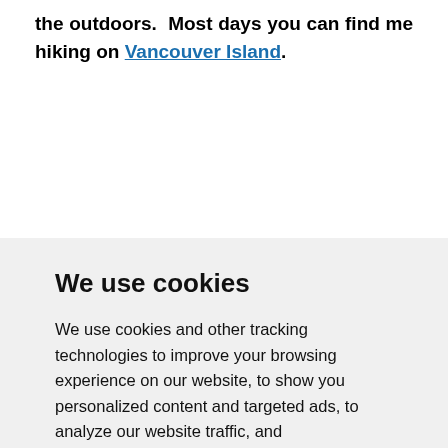the outdoors. Most days you can find me hiking on Vancouver Island.
We use cookies
We use cookies and other tracking technologies to improve your browsing experience on our website, to show you personalized content and targeted ads, to analyze our website traffic, and